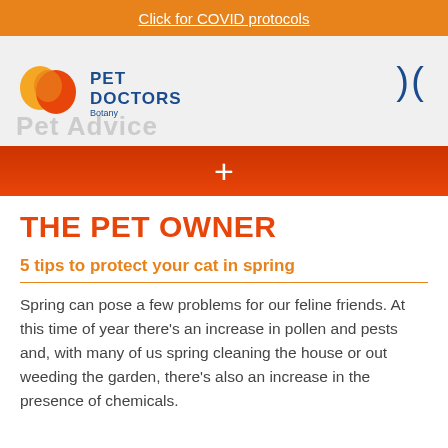Click for COVID protocols
[Figure (logo): Pet Doctors Botany logo with orange paw/heart shape and blue text, with parentheses icon on the right and partial 'Pet Advice' text]
THE PET OWNER
5 tips to protect your cat in spring
Spring can pose a few problems for our feline friends. At this time of year there's an increase in pollen and pests and, with many of us spring cleaning the house or out weeding the garden, there's also an increase in the presence of chemicals.